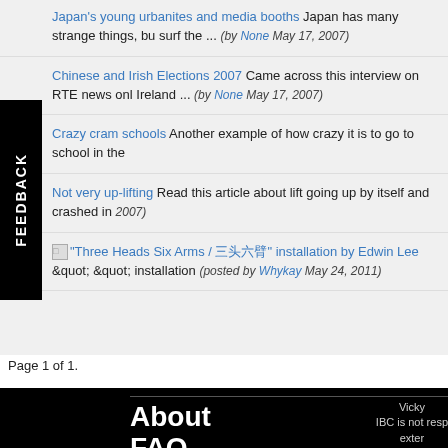Japan's young urbanites and media booths Japan has many strange things, bu surf the ... (by None May 17, 2007)
Chinese and Irish Elections 2007 Came across this interview on RTE news onl Ireland ... (by None May 17, 2007)
Crazy cram schools Another example of how crazy it is to go to school in the
Not very up-lifting Read this article about lift going up by itself and crashed in 2007)
&quot;Three Heads Six Arms / &#x4E09;&#x5934;&#x516D;&#x81C2;&quot; installation by Edwin Lee &quot; &quot; installation (posted by Whykay May 24, 2011)
Page 1 of 1.
About FAQ Disclai... Vicky IBC is not resp exter